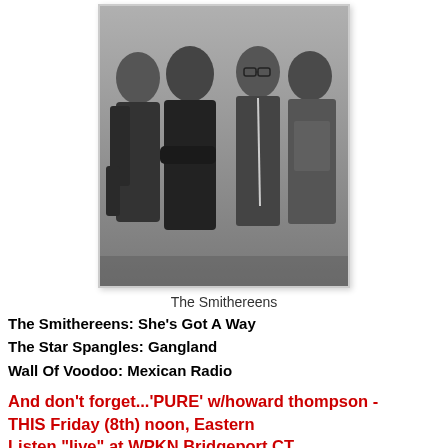[Figure (photo): Black and white photo of four men (The Smithereens band) posed together against a plain background]
The Smithereens
The Smithereens: She's Got A Way
The Star Spangles: Gangland
Wall Of Voodoo: Mexican Radio
And don't forget...'PURE' w/howard thompson - THIS Friday (8th) noon, Eastern Listen "live" at WPKN Bridgeport CT, 89.5khFM or here or listen "later" there